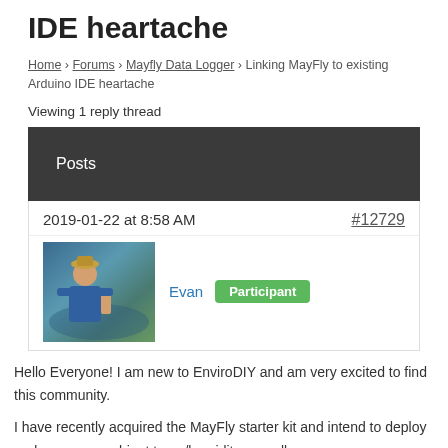IDE heartache
Home › Forums › Mayfly Data Logger › Linking MayFly to existing Arduino IDE heartache
Viewing 1 reply thread
Posts
2019-01-22 at 8:58 AM   #12729
Evan   Participant
Hello Everyone! I am new to EnviroDIY and am very excited to find this community.
I have recently acquired the MayFly starter kit and intend to deploy and measure ambient temp/humidity as well as use a